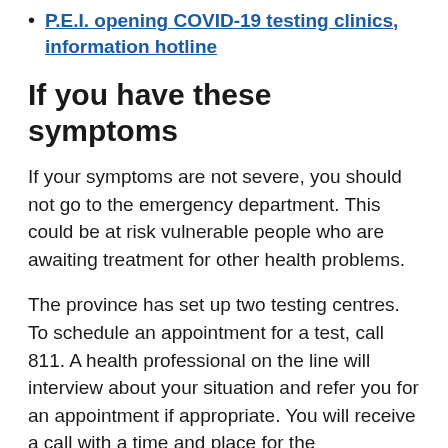P.E.I. opening COVID-19 testing clinics, information hotline
If you have these symptoms
If your symptoms are not severe, you should not go to the emergency department. This could be at risk vulnerable people who are awaiting treatment for other health problems.
The province has set up two testing centres. To schedule an appointment for a test, call 811. A health professional on the line will interview about your situation and refer you for an appointment if appropriate. You will receive a call with a time and place for the appointment within 24 hours.
It may be a cold or the flu, but even if it isn't COVID-19